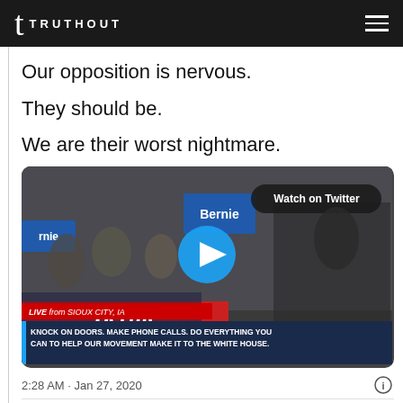TRUTHOUT
Our opposition is nervous.
They should be.
We are their worst nightmare.
[Figure (screenshot): Twitter/X embedded video player showing Bernie Sanders live from Sioux City, IA with a crowd holding Bernie signs. Blue play button overlay. 'Watch on Twitter' button visible top right. Bottom banner reads: KNOCK ON DOORS. MAKE PHONE CALLS. DO EVERYTHING YOU CAN TO HELP OUR MOVEMENT MAKE IT TO THE WHITE HOUSE.]
2:28 AM · Jan 27, 2020
Read the full conversation on Twitter